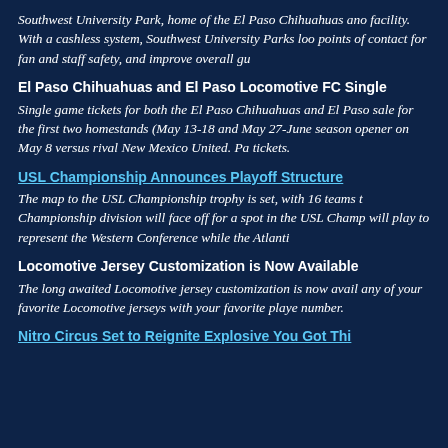Southwest University Park, home of the El Paso Chihuahuas and facility. With a cashless system, Southwest University Parks loo points of contact for fan and staff safety, and improve overall gu
El Paso Chihuahuas and El Paso Locomotive FC Single
Single game tickets for both the El Paso Chihuahuas and El Paso sale for the first two homestands (May 13-18 and May 27-June season opener on May 8 versus rival New Mexico United. Pa tickets.
USL Championship Announces Playoff Structure
The map to the USL Championship trophy is set, with 16 teams t Championship division will face off for a spot in the USL Champ will play to represent the Western Conference while the Atlanti
Locomotive Jersey Customization is Now Available
The long awaited Locomotive jersey customization is now avail any of your favorite Locomotive jerseys with your favorite playe number.
Nitro Circus Set to Reignite Explosive You Got Thi